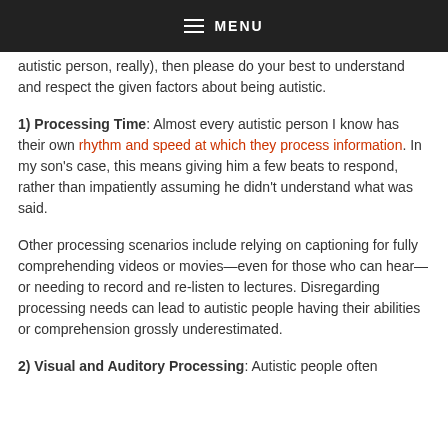MENU
autistic person, really), then please do your best to understand and respect the given factors about being autistic.
1) Processing Time: Almost every autistic person I know has their own rhythm and speed at which they process information. In my son’s case, this means giving him a few beats to respond, rather than impatiently assuming he didn’t understand what was said.
Other processing scenarios include relying on captioning for fully comprehending videos or movies—even for those who can hear—or needing to record and re-listen to lectures. Disregarding processing needs can lead to autistic people having their abilities or comprehension grossly underestimated.
2) Visual and Auditory Processing: Autistic people often